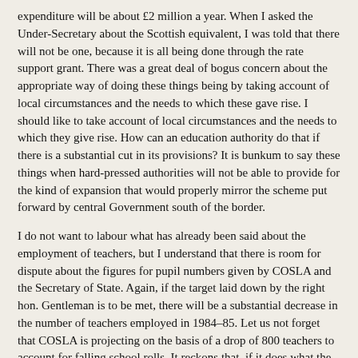expenditure will be about £2 million a year. When I asked the Under-Secretary about the Scottish equivalent, I was told that there will not be one, because it is all being done through the rate support grant. There was a great deal of bogus concern about the appropriate way of doing these things being by taking account of local circumstances and the needs to which these gave rise. I should like to take account of local circumstances and the needs to which they give rise. How can an education authority do that if there is a substantial cut in its provisions? It is bunkum to say these things when hard-pressed authorities will not be able to provide for the kind of expansion that would properly mirror the scheme put forward by central Government south of the border.
I do not want to labour what has already been said about the employment of teachers, but I understand that there is room for dispute about the figures for pupil numbers given by COSLA and the Secretary of State. Again, if the target laid down by the right hon. Gentleman is to be met, there will be a substantial decrease in the number of teachers employed in 1984–85. Let us not forget that COSLA is projecting on the basis of a drop of 800 teachers to account for falling school rolls. It reckons that, if it does what the Government ask, there will be 3,191 fewer teachers employed in Scotland. I invite the Under-Secretary to tell us whether he accepts that figure or to what extent there is margin for error.